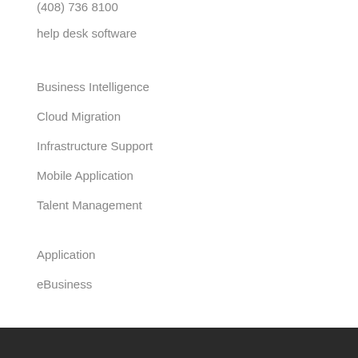(408) 736 8100
help desk software
Business Intelligence
Cloud Migration
Infrastructure Support
Mobile Application
Talent Management
Application
eBusiness